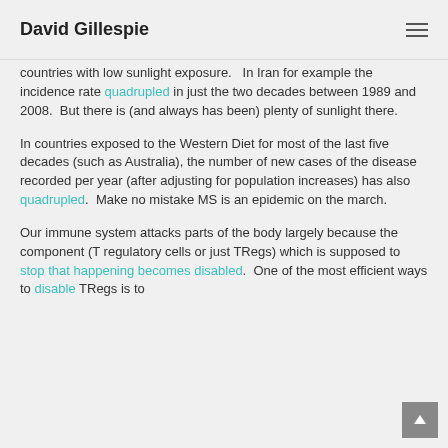David Gillespie
countries with low sunlight exposure.   In Iran for example the incidence rate quadrupled in just the two decades between 1989 and 2008.  But there is (and always has been) plenty of sunlight there.
In countries exposed to the Western Diet for most of the last five decades (such as Australia), the number of new cases of the disease recorded per year (after adjusting for population increases) has also quadrupled.  Make no mistake MS is an epidemic on the march.
Our immune system attacks parts of the body largely because the component (T regulatory cells or just TRegs) which is supposed to stop that happening becomes disabled.  One of the most efficient ways to disable TRegs is to